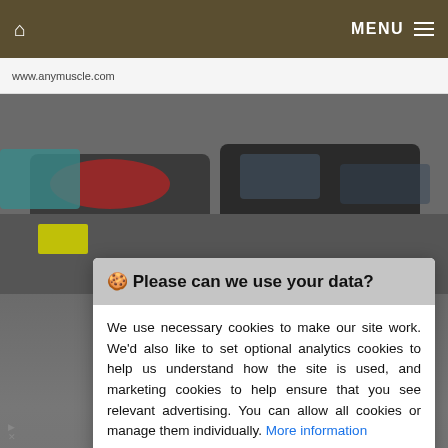MENU
www.anymuscle.com
[Figure (photo): Background photo of cars in a parking lot or dealership, partially visible behind cookie consent dialog]
🍪 Please can we use your data?
We use necessary cookies to make our site work. We'd also like to set optional analytics cookies to help us understand how the site is used, and marketing cookies to help ensure that you see relevant advertising. You can allow all cookies or manage them individually. More information
[Figure (screenshot): Bottom section showing a Dairy Queen advertisement: Reese's Take 5 Blizzard® - DQ® Dairy Queen (Treat)]